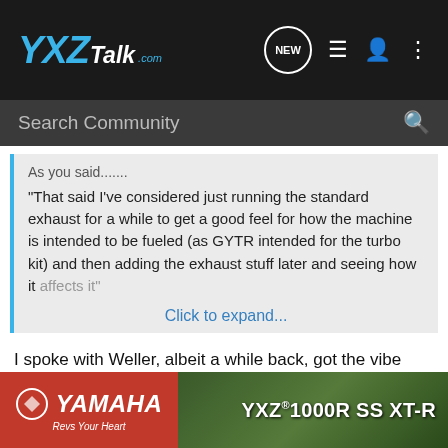YXZTalk.com
Search Community
As you said......
"That said I've considered just running the standard exhaust for a while to get a good feel for how the machine is intended to be fueled (as GYTR intended for the turbo kit) and then adding the exhaust stuff later and seeing how it affects it"
Click to expand...
I spoke with Weller, albeit a while back, got the vibe they would not really want to touch it with a 10' pole no matter what. I completely understand, tuning is a big responsibility, and it is tough to do remotely especially without the proper logging feedback. They also maybe better off allocating their support efforts to their... "one-off".
[Figure (screenshot): Yamaha YXZ 1000R SS XT-R advertisement banner at the bottom of the page]